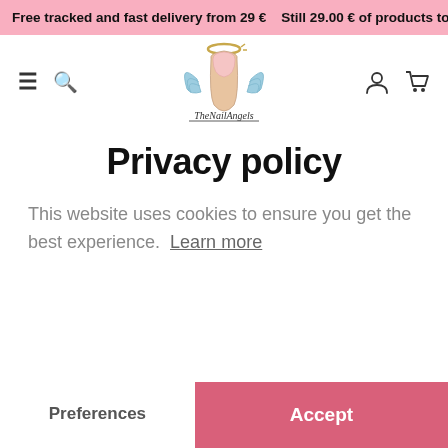Free tracked and fast delivery from 29 €   Still 29.00 € of products to add t
[Figure (logo): TheNailAngels logo: illustrated finger nail with angel wings and halo, script text 'TheNailAngels' below]
Privacy policy
This website uses cookies to ensure you get the best experience. Learn more
Preferences
Accept